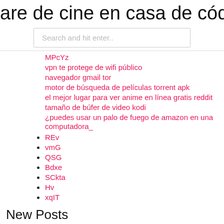are de cine en casa de código abiert
Search and hit enter..
MPcYz
vpn te protege de wifi público
navegador gmail tor
motor de búsqueda de películas torrent apk
el mejor lugar para ver anime en línea gratis reddit
tamaño de búfer de video kodi
¿puedes usar un palo de fuego de amazon en una computadora_
REv
vmG
QSG
Bdxe
SCkta
Hv
xqIT
New Posts